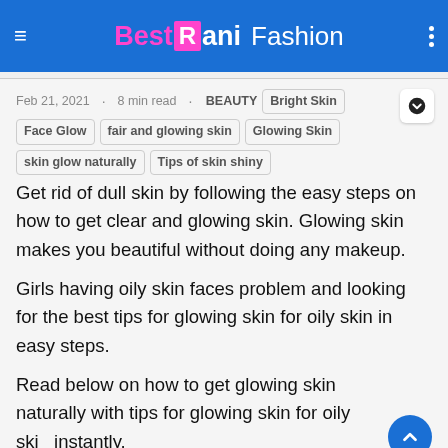Best Rani Fashion
Feb 21, 2021 · 8 min read · BEAUTY  Bright Skin  Face Glow  fair and glowing skin  Glowing Skin  skin glow naturally  Tips of skin shiny
Get rid of dull skin by following the easy steps on how to get clear and glowing skin. Glowing skin makes you beautiful without doing any makeup.
Girls having oily skin faces problem and looking for the best tips for glowing skin for oily skin in easy steps.
Read below on how to get glowing skin naturally with tips for glowing skin for oily skin instantly.